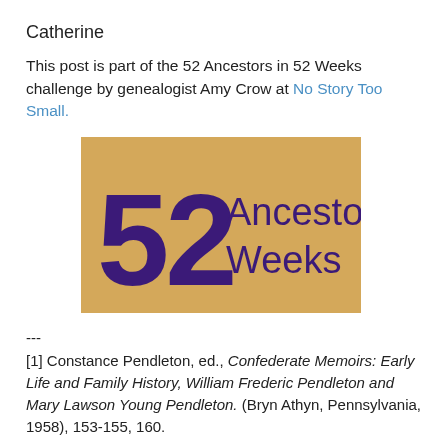Catherine
This post is part of the 52 Ancestors in 52 Weeks challenge by genealogist Amy Crow at No Story Too Small.
[Figure (logo): 52 Ancestors Weeks logo — tan/gold rectangular background with large purple '52' numeral on left and 'Ancestors Weeks' text in purple on right]
---
[1] Constance Pendleton, ed., Confederate Memoirs: Early Life and Family History, William Frederic Pendleton and Mary Lawson Young Pendleton. (Bryn Athyn, Pennsylvania, 1958), 153-155, 160.
[2] Wayne and Judy Dasher. Wiregrass Weddings and Births, Volume 1, The Valdosta Times - April 10, 1875 to December 30, 1899. Berrien County, Disoway, October 10,